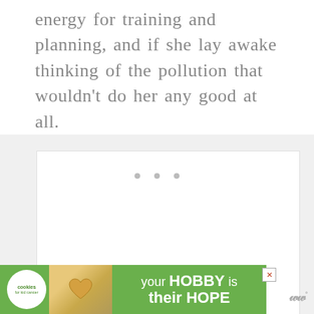energy for training and planning, and if she lay awake thinking of the pollution that wouldn’t do her any good at all.
[Figure (other): White box section with three small grey dots centered near the top, representing a decorative separator or loading placeholder.]
[Figure (infographic): Advertisement banner with green background. Shows cookies for kids' cancer logo (white circle), a photo of hands holding a heart-shaped cookie, and text reading 'your HOBBY is their HOPE' in white. Has a close button (X) in top right corner.]